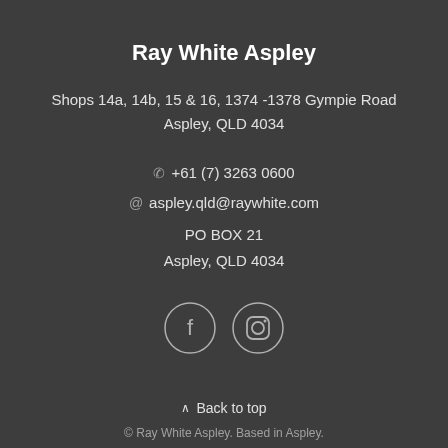Ray White Aspley
Shops 14a, 14b, 15 & 16, 1374 -1378 Gympie Road
Aspley, QLD 4034
+61 (7) 3263 0600
aspley.qld@raywhite.com
PO BOX 21
Aspley, QLD 4034
[Figure (other): Facebook and Instagram social media icons in circles]
Back to top
© Ray White Aspley. Based in Aspley.